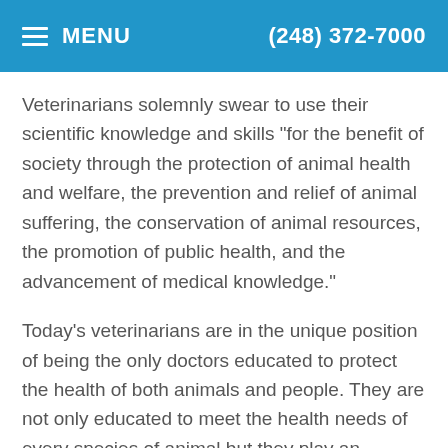≡ MENU   (248) 372-7000
Veterinarians solemnly swear to use their scientific knowledge and skills "for the benefit of society through the protection of animal health and welfare, the prevention and relief of animal suffering, the conservation of animal resources, the promotion of public health, and the advancement of medical knowledge."
Today's veterinarians are in the unique position of being the only doctors educated to protect the health of both animals and people. They are not only educated to meet the health needs of every species of animal but they play an important role in environmental protection, food safety, and public health.